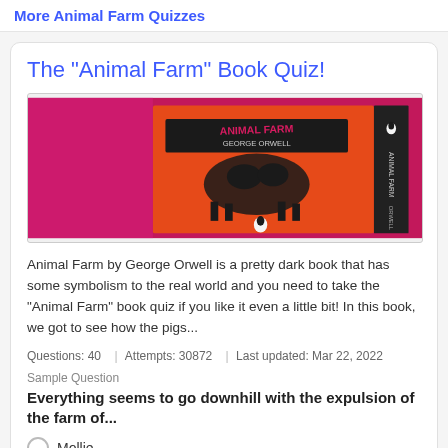More Animal Farm Quizzes
The "Animal Farm" Book Quiz!
[Figure (photo): Photo of the Animal Farm book by George Orwell — orange cover with black pig illustration and black spine, set against a magenta/pink background.]
Animal Farm by George Orwell is a pretty dark book that has some symbolism to the real world and you need to take the "Animal Farm" book quiz if you like it even a little bit! In this book, we got to see how the pigs...
Questions: 40  |  Attempts: 30872  |  Last updated: Mar 22, 2022
Sample Question
Everything seems to go downhill with the expulsion of the farm of...
Mollie